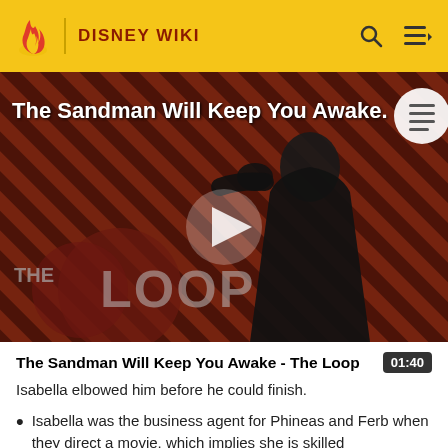DISNEY WIKI
[Figure (screenshot): Video thumbnail showing a dark-cloaked figure against a red diagonal striped background with 'THE LOOP' logo overlay and a play button. Title text reads 'The Sandman Will Keep You Awake...']
The Sandman Will Keep You Awake - The Loop
Isabella elbowed him before he could finish.
Isabella was the business agent for Phineas and Ferb when they direct a movie, which implies she is skilled